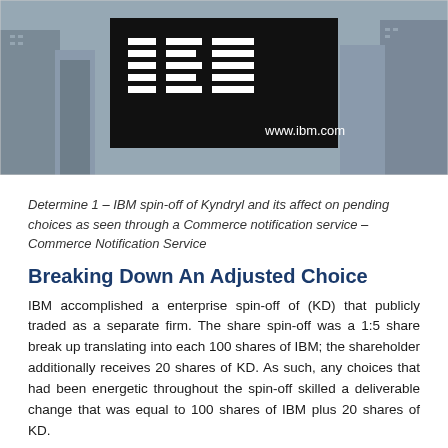[Figure (photo): IBM sign on a building with 'www.ibm.com' text, city skyline in background]
Determine 1 – IBM spin-off of Kyndryl and its affect on pending choices as seen through a Commerce notification service – Commerce Notification Service
Breaking Down An Adjusted Choice
IBM accomplished a enterprise spin-off of (KD) that publicly traded as a separate firm. The share spin-off was a 1:5 share break up translating into each 100 shares of IBM; the shareholder additionally receives 20 shares of KD. As such, any choices that had been energetic throughout the spin-off skilled a deliverable change that was equal to 100 shares of IBM plus 20 shares of KD.